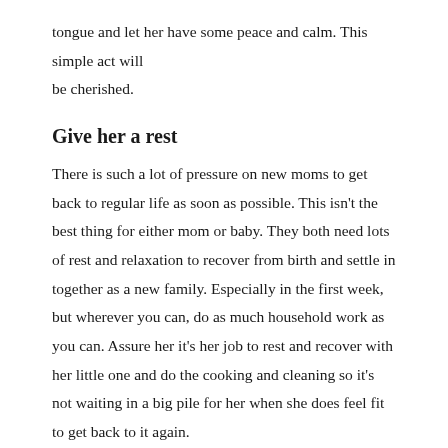tongue and let her have some peace and calm. This simple act will be cherished.
Give her a rest
There is such a lot of pressure on new moms to get back to regular life as soon as possible. This isn't the best thing for either mom or baby. They both need lots of rest and relaxation to recover from birth and settle in together as a new family. Especially in the first week, but wherever you can, do as much household work as you can. Assure her it's her job to rest and recover with her little one and do the cooking and cleaning so it's not waiting in a big pile for her when she does feel fit to get back to it again.
Fill in a baby journal
Babies and newborns are if you do it, you look good for the...